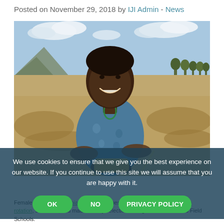Posted on November 29, 2018 by IJI Admin - News
[Figure (photo): Female farmer smiling, seated outdoors in a dry agricultural field, wearing a blue floral blouse and green necklace, with harvested maize/crops around her and a mountainous landscape in the background under a partly cloudy sky.]
We use cookies to ensure that we give you the best experience on our website. If you continue to use this site we will assume that you are happy with it.
OK | NO | PRIVACY POLICY
Female farmers in Zambia learn techniques such as cover mapping, crop rotation, soil cover, and maize variety selection through ICED's Farmers Field Schools.